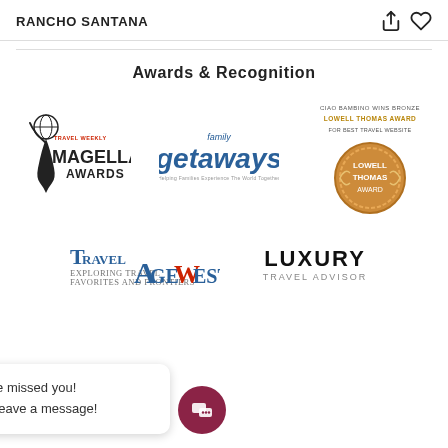RANCHO SANTANA
Awards & Recognition
[Figure (logo): Travel Weekly Magellan Awards logo with globe and figure silhouette]
[Figure (logo): Family Getaways logo in blue text]
[Figure (logo): Ciao Bambino wins Bronze Lowell Thomas Award for Best Travel Website - circular bronze medallion]
[Figure (logo): TravelAge West logo - Exploring Travel Favorites and Frontiers]
[Figure (logo): Luxury Travel Advisor logo]
Sorry we missed you! Please leave a message!